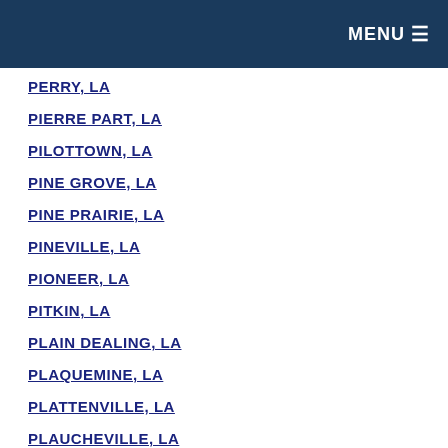MENU ☰
PERRY, LA
PIERRE PART, LA
PILOTTOWN, LA
PINE GROVE, LA
PINE PRAIRIE, LA
PINEVILLE, LA
PIONEER, LA
PITKIN, LA
PLAIN DEALING, LA
PLAQUEMINE, LA
PLATTENVILLE, LA
PLAUCHEVILLE, LA
PLEASANT HILL, LA
POINTE A LA HACHE, LA
POLLOCK, LA